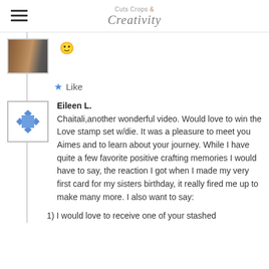Cuts Crops & Creativity
[Figure (photo): User avatar thumbnail with photo]
🙂
★ Like
[Figure (illustration): User avatar with blue diamond and square icon pattern]
Eileen L.
Chaitali,another wonderful video. Would love to win the Love stamp set w/die. It was a pleasure to meet you Aimes and to learn about your journey. While I have quite a few favorite positive crafting memories I would have to say, the reaction I got when I made my very first card for my sisters birthday, it really fired me up to make many more. I also want to say:
1) I would love to receive one of your stashed